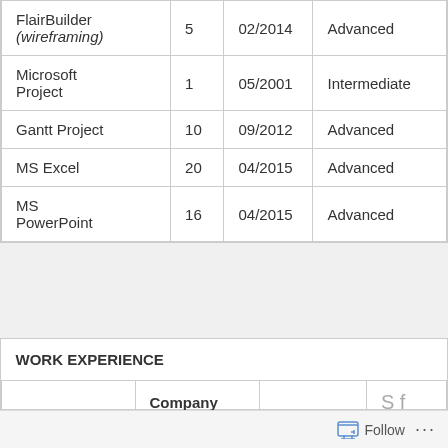| FlairBuilder (wireframing) | 5 | 02/2014 | Advanced |
| Microsoft Project | 1 | 05/2001 | Intermediate |
| Gantt Project | 10 | 09/2012 | Advanced |
| MS Excel | 20 | 04/2015 | Advanced |
| MS PowerPoint | 16 | 04/2015 | Advanced |
|  | Company |  |  |
| --- | --- | --- | --- |